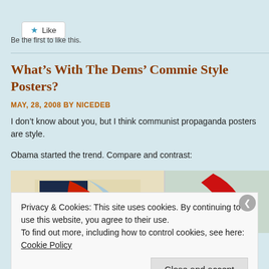[Figure (other): Like button widget — white rounded rectangle button with a blue star icon and the word Like]
Be the first to like this.
What's With The Dems' Commie Style Posters?
MAY, 28, 2008 BY NICEDEB
I don't know about you, but I think communist propaganda posters are style.
Obama started the trend. Compare and contrast:
[Figure (photo): Two side-by-side images partially visible — left shows a poster with navy blue, red and cream curved shapes on beige background; right shows a red curved shape on a light teal background]
Privacy & Cookies: This site uses cookies. By continuing to use this website, you agree to their use.
To find out more, including how to control cookies, see here: Cookie Policy
Close and accept